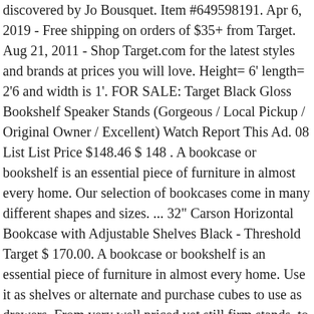discovered by Jo Bousquet. Item #649598191. Apr 6, 2019 - Free shipping on orders of $35+ from Target. Aug 21, 2011 - Shop Target.com for the latest styles and brands at prices you will love. Height= 6' length= 2'6 and width is 1'. FOR SALE: Target Black Gloss Bookshelf Speaker Stands (Gorgeous / Local Pickup / Original Owner / Excellent) Watch Report This Ad. 08 List List Price $148.46 $ 148 . A bookcase or bookshelf is an essential piece of furniture in almost every home. Our selection of bookcases come in many different shapes and sizes. ... 32" Carson Horizontal Bookcase with Adjustable Shelves Black - Threshold Target $ 170.00. A bookcase or bookshelf is an essential piece of furniture in almost every home. Use it as shelves or alternate and purchase cubes to use as drawers. From very well priced yet still firm stands, to very high mass, ultra rigid stands. Any questions please ask Pick up preferred. The options are endless. Free Shipping on Everything* at Overstock - Your Online Kids' & Toddler Furniture Store! Bookcases and Shelves Kids'